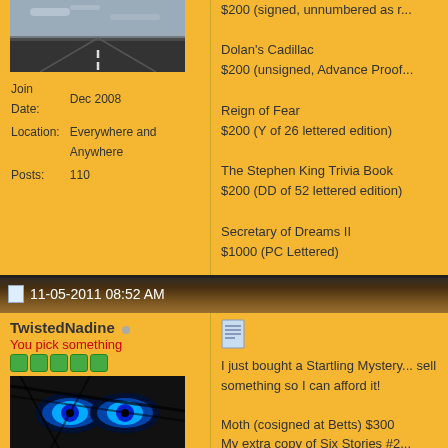[Figure (photo): User avatar: landscape photo of a road stretching into the distance under a cloudy sky]
Join Date: Dec 2008
Location: Everywhere and Anywhere
Posts: 110
$200 (signed, unnumbered as r...

Dolan's Cadillac
$200 (unsigned, Advance Proof...

Reign of Fear
$200 (Y of 26 lettered edition)

The Stephen King Trivia Book
$200 (DD of 52 lettered edition)

Secretary of Dreams II
$1000 (PC Lettered)
11-05-2011 08:52 AM
TwistedNadine
You pick something
[Figure (photo): User avatar: close-up of blue eyes with dark graphic overlaid]
Join Date: Apr 2010
Location: SoCal
Posts: 2,697
[Figure (illustration): Document/notepad icon]
I just bought a Startling Mystery... sell something so I can afford it!

Moth (cosigned at Betts) $300
My extra copy of Six Stories #2...
Dead Zone Inscribed and dated... publication) Nice signature but h... slight spine lien), DJ Very Good... edge. In mylar). = Make offer